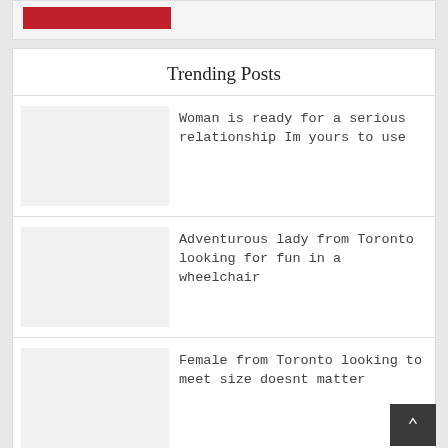[Figure (other): Red button/banner at the top of the page]
Trending Posts
Woman is ready for a serious relationship Im yours to use
Adventurous lady from Toronto looking for fun in a wheelchair
Female from Toronto looking to meet size doesnt matter